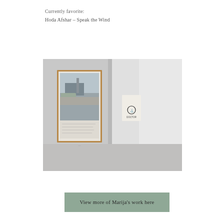Currently favorite:
Hoda Afshar – Speak the Wind
[Figure (photo): Gallery installation photo showing two artworks on white walls: on the left, a framed black-and-white photograph with handwritten text below the image inside the frame; on the right, a small mixed-media piece with text and a graphic on a white background.]
View more of Marija's work here